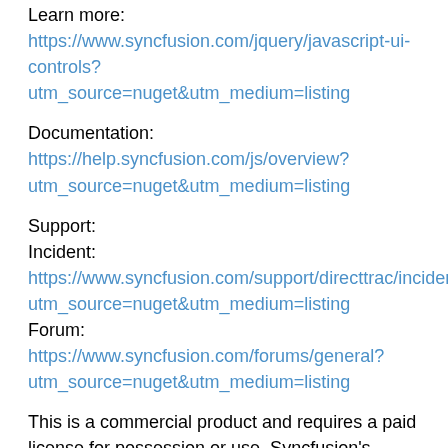Learn more:
https://www.syncfusion.com/jquery/javascript-ui-controls?utm_source=nuget&utm_medium=listing
Documentation:
https://help.syncfusion.com/js/overview?utm_source=nuget&utm_medium=listing
Support:
Incident:
https://www.syncfusion.com/support/directtrac/incidents/newincident?utm_source=nuget&utm_medium=listing
Forum: https://www.syncfusion.com/forums/general?utm_source=nuget&utm_medium=listing
This is a commercial product and requires a paid license for possession or use. Syncfusion's licensed software, including this component, is subject to the terms and conditions of Syncfusion's EULA (https://www.syncfusion.com/eula/es/?